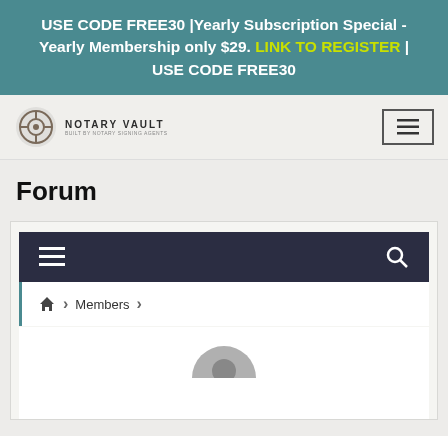USE CODE FREE30 |Yearly Subscription Special - Yearly Membership only $29. LINK TO REGISTER | USE CODE FREE30
[Figure (logo): Notary Vault logo with gear/vault icon and text 'NOTARY VAULT - BUILT BY NOTARY SIGNING AGENTS']
Forum
[Figure (screenshot): Forum interface showing dark navy toolbar with hamburger menu and search icon, breadcrumb navigation with home icon > Members >, and a white content area below with partially visible avatar circle]